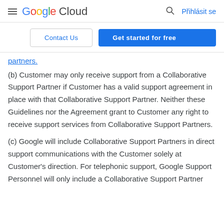Google Cloud — Přihlásit se
Contact Us | Get started for free
partners.
(b) Customer may only receive support from a Collaborative Support Partner if Customer has a valid support agreement in place with that Collaborative Support Partner. Neither these Guidelines nor the Agreement grant to Customer any right to receive support services from Collaborative Support Partners.
(c) Google will include Collaborative Support Partners in direct support communications with the Customer solely at Customer's direction. For telephonic support, Google Support Personnel will only include a Collaborative Support Partner